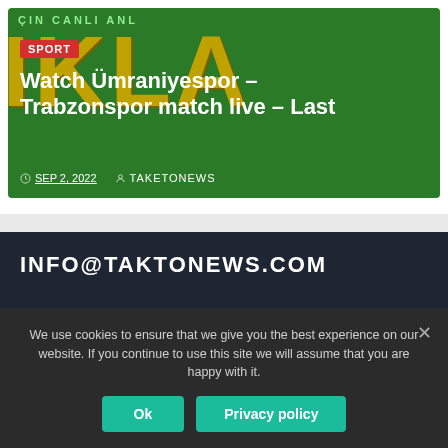[Figure (screenshot): Sports news card with green background showing golden letters IKLA, red SPORT badge, white headline text, and meta info with date and author]
Watch Ümraniyespor – Trabzonspor match live – Last
SEP 2, 2022   TAKETONEWS
INFO@TAKTONEWS.COM
We use cookies to ensure that we give you the best experience on our website. If you continue to use this site we will assume that you are happy with it.
Ok   Privacy policy